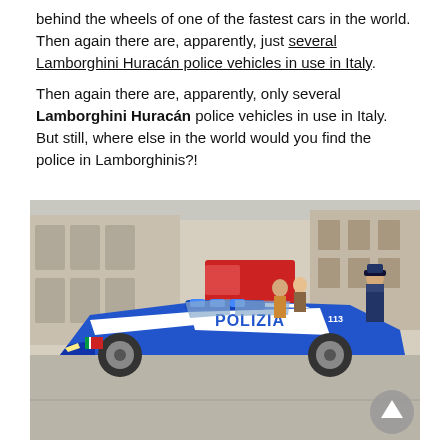behind the wheels of one of the fastest cars in the world. Then again there are, apparently, just several Lamborghini Huracán police vehicles in use in Italy.
Then again there are, apparently, only several Lamborghini Huracán police vehicles in use in Italy. But still, where else in the world would you find the police in Lamborghinis?!
[Figure (photo): A blue and white Lamborghini Gallardo police car with POLIZIA written on the side and the number 113, parked in an Italian city square with people and buildings in the background. A police officer in uniform stands to the right.]